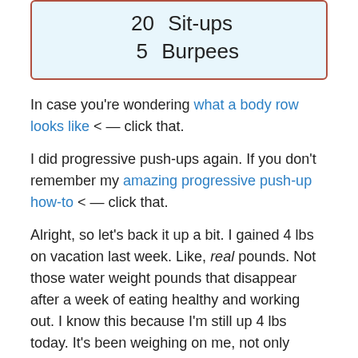[Figure (other): Light blue box with brown/red border listing exercise counts: '20 Sit-ups' and '5 Burpees']
In case you're wondering what a body row looks like < — click that.
I did progressive push-ups again. If you don't remember my amazing progressive push-up how-to < — click that.
Alright, so let's back it up a bit. I gained 4 lbs on vacation last week. Like, real pounds. Not those water weight pounds that disappear after a week of eating healthy and working out. I know this because I'm still up 4 lbs today. It's been weighing on me, not only physically, but mentally. So, the weight gain coupled with not being able to finish that workout pretty much shit all over my day. I was just so sad all day long. I had plans with friends that night that I